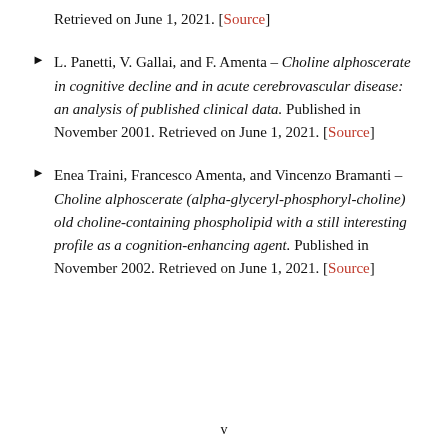Retrieved on June 1, 2021. [Source]
L. Panetti, V. Gallai, and F. Amenta – Choline alphoscerate in cognitive decline and in acute cerebrovascular disease: an analysis of published clinical data. Published in November 2001. Retrieved on June 1, 2021. [Source]
Enea Traini, Francesco Amenta, and Vincenzo Bramanti – Choline alphoscerate (alpha-glyceryl-phosphoryl-choline) old choline-containing phospholipid with a still interesting profile as a cognition-enhancing agent. Published in November 2002. Retrieved on June 1, 2021. [Source]
v